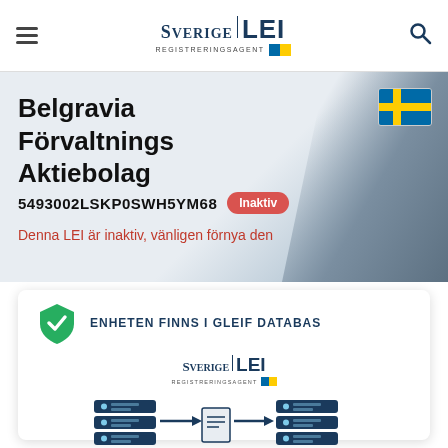Sverige LEI Registreringsagent
Belgravia Förvaltnings Aktiebolag
5493002LSKP0SWH5YM68 Inaktiv
Denna LEI är inaktiv, vänligen förnya den
ENHETEN FINNS I GLEIF DATABAS
[Figure (logo): Sverige LEI Registreringsagent logo with database/document flow diagram]